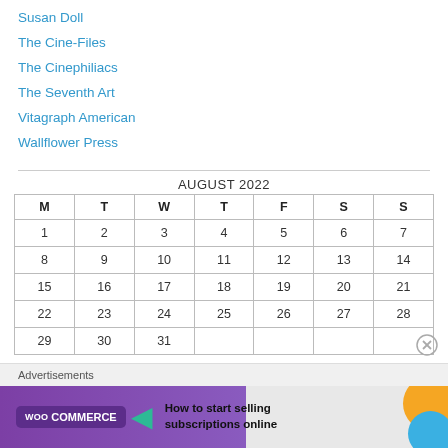Susan Doll
The Cine-Files
The Cinephiliacs
The Seventh Art
Vitagraph American
Wallflower Press
| M | T | W | T | F | S | S |
| --- | --- | --- | --- | --- | --- | --- |
| 1 | 2 | 3 | 4 | 5 | 6 | 7 |
| 8 | 9 | 10 | 11 | 12 | 13 | 14 |
| 15 | 16 | 17 | 18 | 19 | 20 | 21 |
| 22 | 23 | 24 | 25 | 26 | 27 | 28 |
| 29 | 30 | 31 |  |  |  |  |
Advertisements
[Figure (screenshot): WooCommerce advertisement banner: 'How to start selling subscriptions online']